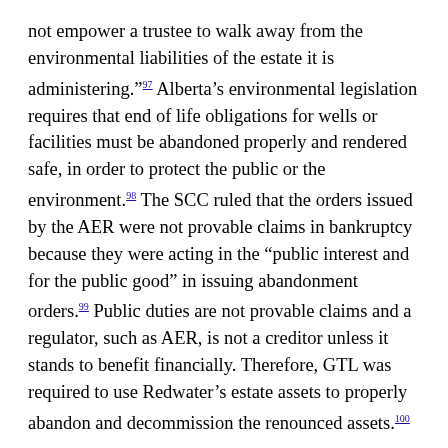not empower a trustee to walk away from the environmental liabilities of the estate it is administering."97 Alberta's environmental legislation requires that end of life obligations for wells or facilities must be abandoned properly and rendered safe, in order to protect the public or the environment.98 The SCC ruled that the orders issued by the AER were not provable claims in bankruptcy because they were acting in the "public interest and for the public good" in issuing abandonment orders.99 Public duties are not provable claims and a regulator, such as AER, is not a creditor unless it stands to benefit financially. Therefore, GTL was required to use Redwater's estate assets to properly abandon and decommission the renounced assets.100
MODIFIED ABITIBI TEST
The SCC also took the opportunity, in Redwater, to clarify the application of the Abitibi test.101 When applying the Abitibi test, the orders issued by the AER did not meet the first and third steps of the test and was therefore not a provable claim; AER was not considered a creditor and it was not possible to attach a monetary value to the obligation. "As a matter of principle, bankruptcy does not amount to a licence to